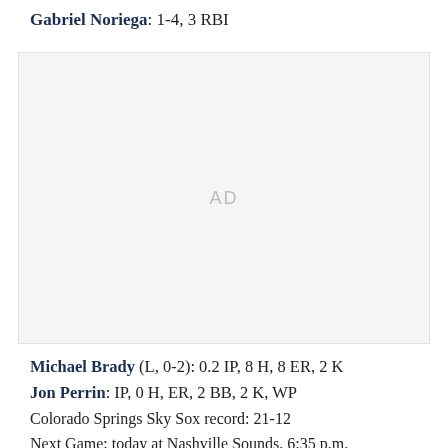Gabriel Noriega: 1-4, 3 RBI
[Figure (other): Advertisement placeholder box with 'AD' text centered]
Michael Brady (L, 0-2): 0.2 IP, 8 H, 8 ER, 2 K
Jon Perrin: IP, 0 H, ER, 2 BB, 2 K, WP
Colorado Springs Sky Sox record: 21-12
Next Game: today at Nashville Sounds, 6:35 p.m.
Probable: Corbin Burnes, CS (#2) (1-0, 4.55 ERA)